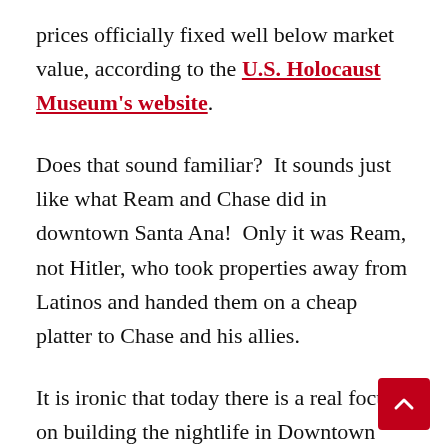prices officially fixed well below market value, according to the U.S. Holocaust Museum's website.
Does that sound familiar?  It sounds just like what Ream and Chase did in downtown Santa Ana!  Only it was Ream, not Hitler, who took properties away from Latinos and handed them on a cheap platter to Chase and his allies.
It is ironic that today there is a real focus on building the nightlife in Downtown Santa Ana.  Before Ream there was a nightlife – but he closed